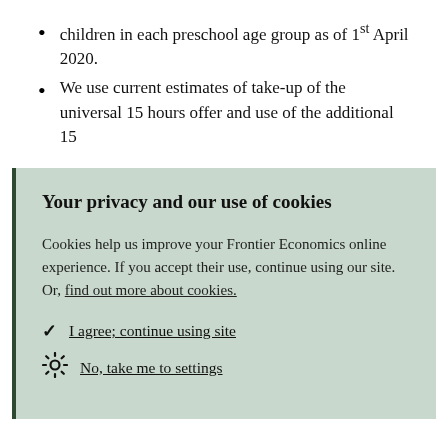children in each preschool age group as of 1st April 2020.
We use current estimates of take-up of the universal 15 hours offer and use of the additional 15
Your privacy and our use of cookies
Cookies help us improve your Frontier Economics online experience. If you accept their use, continue using our site. Or, find out more about cookies.
I agree; continue using site
No, take me to settings